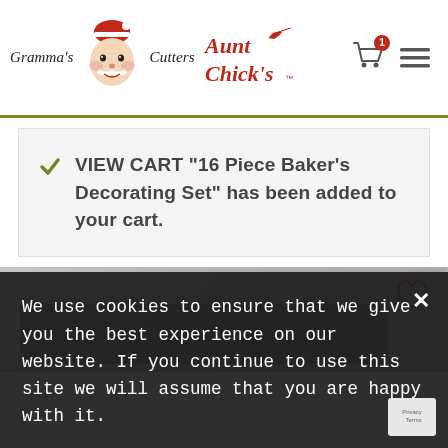[Figure (logo): Gramma's Cutters and Aunt Chick's logos with Santa face illustration, shopping cart icon with badge '1', and hamburger menu icon]
VIEW CART “16 Piece Baker’s Decorating Set” has been added to your cart.
[Figure (photo): Blurred product image of baking decorating set items, with a heart/wishlist icon in top right corner]
We use cookies to ensure that we give you the best experience on our website. If you continue to use this site we will assume that you are happy with it.